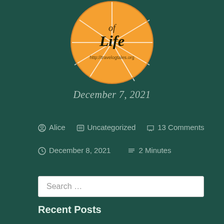[Figure (logo): Orange circular logo with 'Life' text and web address, divided into pie-slice sections]
December 7, 2021
Alice  Uncategorized  13 Comments
December 8, 2021  2 Minutes
Search …
Recent Posts
Cincuentañera
Cicadas